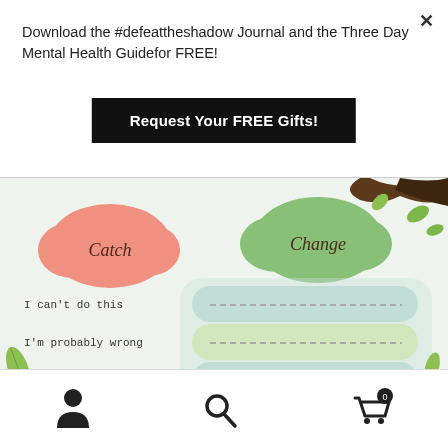Download the #defeattheshadow Journal and the Three Day Mental Health Guidefor FREE!
Request Your FREE Gifts!
[Figure (illustration): Educational worksheet showing two cloud shapes labeled 'Catch' (pink/salmon) and 'Change' (green), with stacked colored panels on the right side containing dashed lines for writing. Left side lists negative thoughts: 'I can't do this', 'I'm probably wrong', 'I might look silly', 'I better not ask'. Decorative tree branch top right and leaves.]
Navigation bar with person icon, search icon, and shopping cart icon with badge showing 0